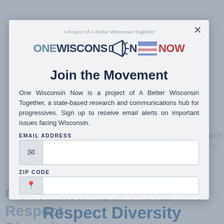[Figure (screenshot): One Wisconsin Now website modal overlay showing 'Join the Movement' signup form over a page about #WalkerAt20: Failure to Respect Diversity]
Join the Movement
One Wisconsin Now is a project of A Better Wisconsin Together, a state-based research and communications hub for progressives. Sign up to receive email alerts on important issues facing Wisconsin.
MEDIA CONTACT
Mike Browne, Deputy Director
mike@abwt.org
(608) 514-1640
EMAIL ADDRESS
ZIP CODE
#WalkerAt20: Failure to Respect Diversity